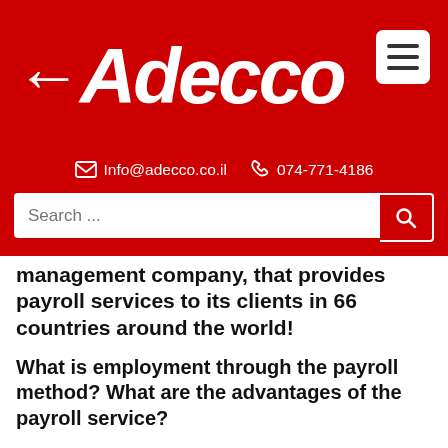[Figure (logo): Adecco logo in white text on red background with hamburger menu icon]
Info@adecco.co.il   074-771-4186
Search ...
management company, that provides payroll services to its clients in 66 countries around the world!
What is employment through the payroll method? What are the advantages of the payroll service?
Read the following article to find the answers to these questions!